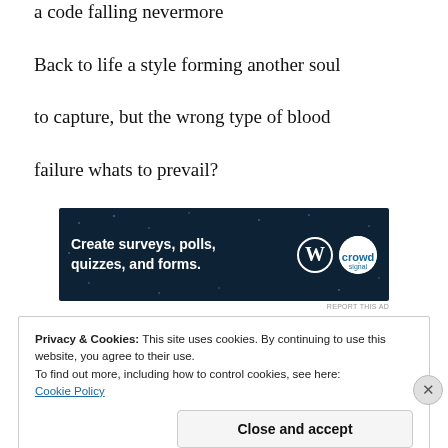a code falling nevermore
Back to life a style forming another soul
to capture, but the wrong type of blood
failure whats to prevail?
[Figure (other): Advertisement banner for WordPress/Crowdsignal: 'Create surveys, polls, quizzes, and forms.' with WordPress and Crowdsignal logos on dark navy background]
REPORT THIS AD
Privacy & Cookies: This site uses cookies. By continuing to use this website, you agree to their use.
To find out more, including how to control cookies, see here:
Cookie Policy
Close and accept